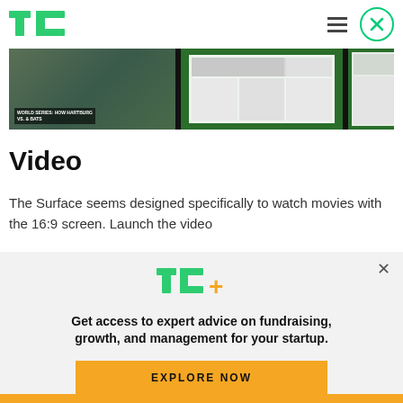TechCrunch header with TC logo, hamburger menu, and close button
[Figure (screenshot): Horizontal image strip showing a baseball player, newspaper layouts on green backgrounds, tablet screenshots, and a red smartphone]
Video
The Surface seems designed specifically to watch movies with the 16:9 screen. Launch the video
[Figure (infographic): TC+ promotional overlay with TC+ logo in green and yellow, bold text about expert advice, and yellow EXPLORE NOW button]
Yellow bar at bottom